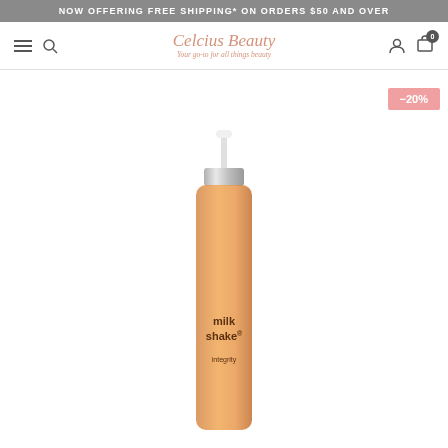NOW OFFERING FREE SHIPPING* ON ORDERS $50 AND OVER
Celcius Beauty — Your go-to for all things beauty
[Figure (photo): milk_shake integrity nourishing serum spray bottle with silver pump, amber/orange frosted glass bottle, product photo on white background with -20% discount badge]
-20%